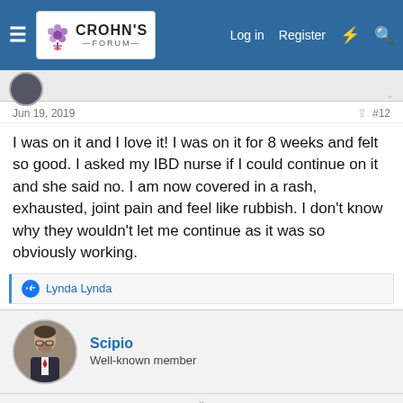Crohn's Forum — Log in | Register
Jun 19, 2019   #12
I was on it and I love it! I was on it for 8 weeks and felt so good. I asked my IBD nurse if I could continue on it and she said no. I am now covered in a rash, exhausted, joint pain and feel like rubbish. I don't know why they wouldn't let me continue as it was so obviously working.
Lynda Lynda
Scipio
Well-known member
Jun 19, 2019   #13
Dmarks70 said: